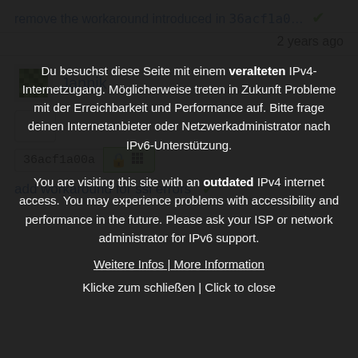remove the workaround introduced in 36acf1a0... ✓
2 years ago
Jannik
36acf1a00a
add workaround for ssl errors ✓
Du besuchst diese Seite mit einem veralteten IPv4-Internetzugang. Möglicherweise treten in Zukunft Probleme mit der Erreichbarkeit und Performance auf. Bitte frage deinen Internetanbieter oder Netzwerkadministrator nach IPv6-Unterstützung.
You are visiting this site with an outdated IPv4 internet access. You may experience problems with accessibility and performance in the future. Please ask your ISP or network administrator for IPv6 support.
Weitere Infos | More Information
Klicke zum schließen | Click to close